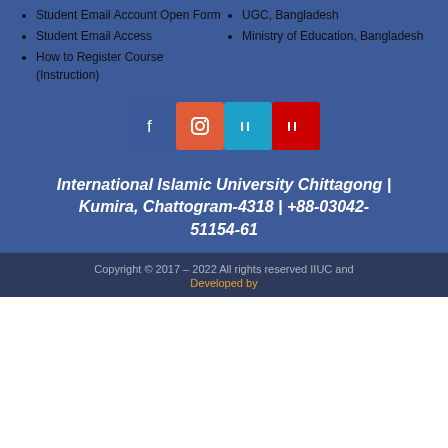Student Email Account Open Form
Student Email Access
How to Register Course (Instruction)
UGC, Bangladesh
Ministry of Education, Bangladesh
[Figure (other): Four social media icon buttons: Facebook (blue), Instagram (orange-red), Twitter (cyan), YouTube (red)]
International Islamic University Chittagong | Kumira, Chattogram-4318 | +88-03042-51154-61
Copyright © 2017 - 2022 All rights reserved IIUC and Developed by